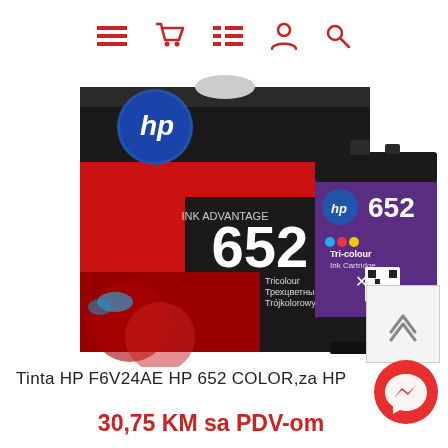[Figure (screenshot): Navigation bar with hamburger menu, shopping cart, list, user profile, and search icons in red on white background]
[Figure (photo): HP 652 Tri-colour Ink Advantage cartridge product shot showing both the box packaging and the standalone ink cartridge]
Tinta HP F6V24AE HP 652 COLOR,za HP
30,75 KM sa PDV-om
[Figure (illustration): Red circular Facebook Messenger chat button with lightning bolt icon]